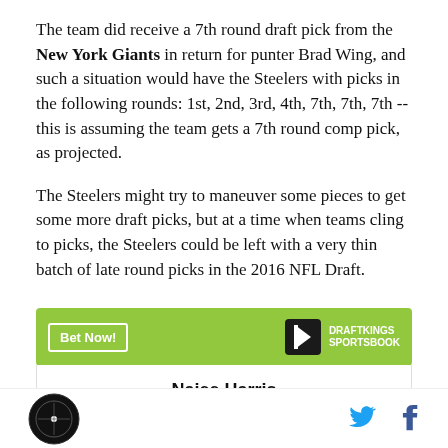The team did receive a 7th round draft pick from the New York Giants in return for punter Brad Wing, and such a situation would have the Steelers with picks in the following rounds: 1st, 2nd, 3rd, 4th, 7th, 7th, 7th -- this is assuming the team gets a 7th round comp pick, as projected.
The Steelers might try to maneuver some pieces to get some more draft picks, but at a time when teams cling to picks, the Steelers could be left with a very thin batch of late round picks in the 2016 NFL Draft.
[Figure (infographic): DraftKings Sportsbook advertisement banner with green background, 'Bet Now!' button, DraftKings crown logo, and 'DRAFTKINGS SPORTSBOOK' text]
Najee Harris
Site logo (circular black icon) on left; Twitter and Facebook social icons on right